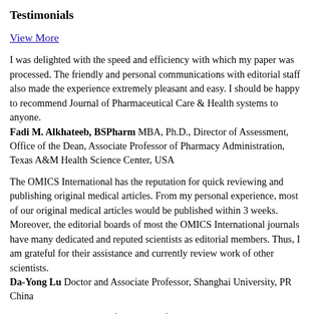Testimonials
View More
I was delighted with the speed and efficiency with which my paper was processed. The friendly and personal communications with editorial staff also made the experience extremely pleasant and easy. I should be happy to recommend Journal of Pharmaceutical Care & Health systems to anyone.
Fadi M. Alkhateeb, BSPharm MBA, Ph.D., Director of Assessment, Office of the Dean, Associate Professor of Pharmacy Administration, Texas A&M Health Science Center, USA
The OMICS International has the reputation for quick reviewing and publishing original medical articles. From my personal experience, most of our original medical articles would be published within 3 weeks. Moreover, the editorial boards of most the OMICS International journals have many dedicated and reputed scientists as editorial members. Thus, I am grateful for their assistance and currently review work of other scientists.
Da-Yong Lu Doctor and Associate Professor, Shanghai University, PR China
I have served as an editor for Journal of Nanomedicine & Biotherapeutic Discovery for two years. The journal has an unique experience in Nanomedicine and Biotherapeutic discourses and the